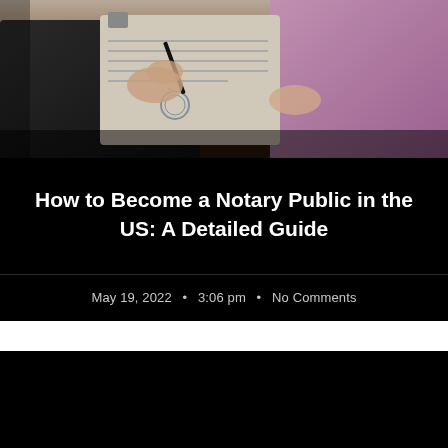[Figure (photo): Photo of people signing a notarized document, showing hands holding a clipboard with a pen over documents with a seal/stamp]
How to Become a Notary Public in the US: A Detailed Guide
May 19, 2022  •  3:06 pm  •  No Comments
[Figure (screenshot): Black video embed area (video player, content not visible)]